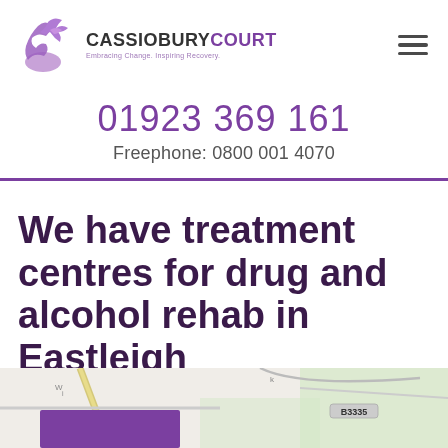[Figure (logo): Cassiobury Court logo with purple bird/dove and hand graphic, text reading CASSIOBURYCOURT, tagline: Embracing Change. Inspiring Recovery.]
01923 369 161
Freephone: 0800 001 4070
We have treatment centres for drug and alcohol rehab in Eastleigh
[Figure (map): Street map showing local area with road B3335 visible, partial purple location marker box at bottom]